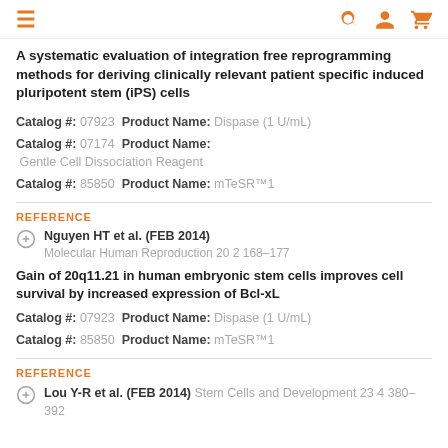≡  🔍 👤 🛒
A systematic evaluation of integration free reprogramming methods for deriving clinically relevant patient specific induced pluripotent stem (iPS) cells
Catalog #: 07923  Product Name: Dispase (1 U/mL)
Catalog #: 07174  Product Name: Gentle Cell Dissociation Reagent
Catalog #: 85850  Product Name: mTeSR™1
REFERENCE
Nguyen HT et al. (FEB 2014)
Molecular Human Reproduction 20 2 168–177
Gain of 20q11.21 in human embryonic stem cells improves cell survival by increased expression of Bcl-xL
Catalog #: 07923  Product Name: Dispase (1 U/mL)
Catalog #: 85850  Product Name: mTeSR™1
REFERENCE
Lou Y-R et al. (FEB 2014)  Stem Cells and Development 23 4 380–392